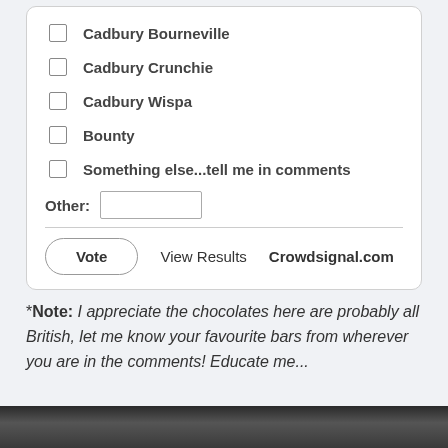Cadbury Bourneville
Cadbury Crunchie
Cadbury Wispa
Bounty
Something else...tell me in comments
Other: [text input]
Vote   View Results   Crowdsignal.com
*Note: I appreciate the chocolates here are probably all British, let me know your favourite bars from wherever you are in the comments! Educate me...
[Figure (photo): Dark photograph strip at bottom of page]